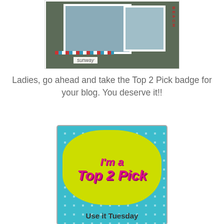[Figure (photo): A scrapbook layout photo showing children at the beach, with decorative striped tape and the word 'sunway' on white label, 'BEACH' text visible on right side]
Ladies, go ahead and take the Top 2 Pick badge for your blog. You deserve it!!
[Figure (illustration): A badge graphic with teal/aqua polka dot background, yellow-green splat shape, pink italic text reading "I'm a Top 2 Pick" and dark text reading "Use it Tuesday"]